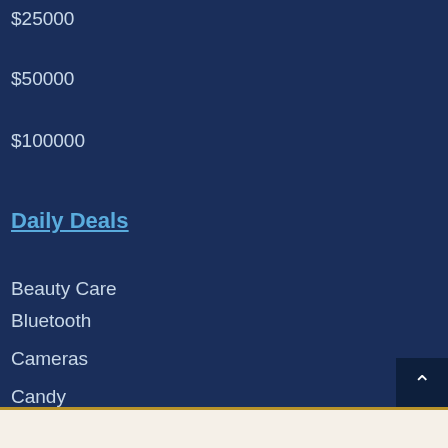$25000
$50000
$100000
Daily Deals
Beauty Care
Bluetooth
Cameras
Candy
Car Electronics